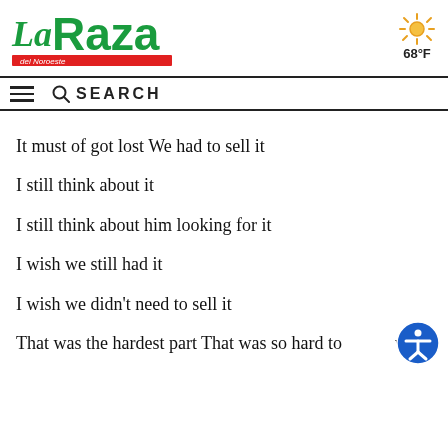[Figure (logo): La Raza del Noroeste newspaper logo in green and red]
[Figure (illustration): Sun weather icon with temperature 68°F]
SEARCH
It must of got lost We had to sell it
I still think about it
I still think about him looking for it
I wish we still had it
I wish we didn't need to sell it
That was the hardest part That was so hard to with